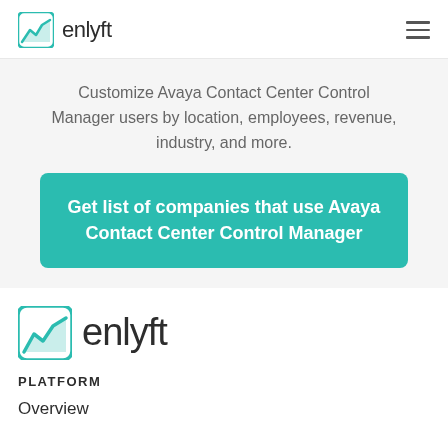enlyft
Customize Avaya Contact Center Control Manager users by location, employees, revenue, industry, and more.
Get list of companies that use Avaya Contact Center Control Manager
[Figure (logo): Enlyft logo — blue/teal chart icon with 'enlyft' wordmark]
PLATFORM
Overview